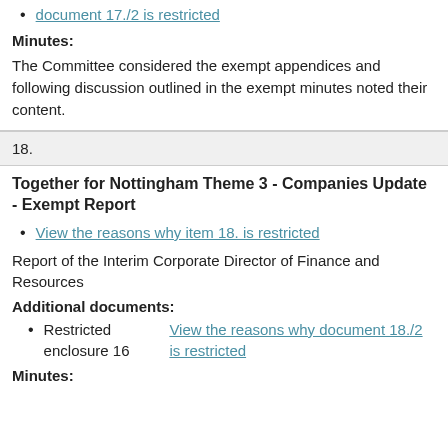View the reasons why document 17./2 is restricted
Minutes:
The Committee considered the exempt appendices and following discussion outlined in the exempt minutes noted their content.
18.
Together for Nottingham Theme 3 - Companies Update - Exempt Report
View the reasons why item 18. is restricted
Report of the Interim Corporate Director of Finance and Resources
Additional documents:
Restricted enclosure 16 View the reasons why document 18./2 is restricted
Minutes: